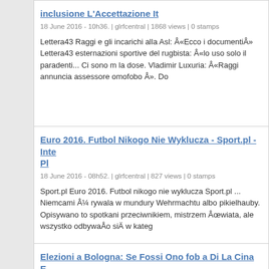inclusione L'Accettazione It
18 June 2016 - 10h36. | glrfcentral | 1868 views | 0 stamps
Lettera43 Raggi e gli incarichi alla Asl: Â«Ecco i documentiÂ» Lettera43 esternazioni sportive del rugbista: Â«lo uso solo il paradenti... Ci sono m la dose. Vladimir Luxuria: Â«Raggi annuncia assessore omofobo Â». Do
Euro 2016. Futbol Nikogo Nie Wyklucza - Sport.pl - Inte Pl
18 June 2016 - 08h52. | glrfcentral | 827 views | 0 stamps
Sport.pl Euro 2016. Futbol nikogo nie wyklucza Sport.pl ... Niemcami Â¼ rywala w mundury Wehrmachtu albo pikielhauby. Opisywano to spotkani przeciwnikiem, mistrzem Âœwiata, ale wszystko odbywaÅo siÄ w kateg
Elezioni a Bologna: Se Fossi Ono fob a Di La Cina E...